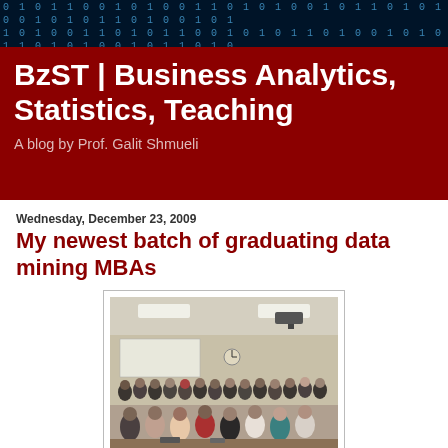BzST | Business Analytics, Statistics, Teaching — A blog by Prof. Galit Shmueli
Wednesday, December 23, 2009
My newest batch of graduating data mining MBAs
[Figure (photo): Group photo of MBA students and professor in a classroom setting. Approximately 30 people standing in rows in a university classroom with overhead lights and a projector visible.]